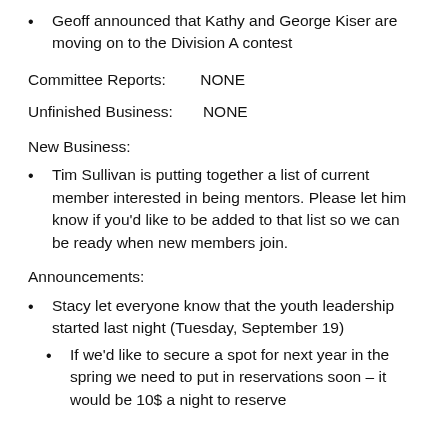Geoff announced that Kathy and George Kiser are moving on to the Division A contest
Committee Reports:      NONE
Unfinished Business:      NONE
New Business:
Tim Sullivan is putting together a list of current member interested in being mentors. Please let him know if you'd like to be added to that list so we can be ready when new members join.
Announcements:
Stacy let everyone know that the youth leadership started last night (Tuesday, September 19)
If we'd like to secure a spot for next year in the spring we need to put in reservations soon – it would be 10$ a night to reserve